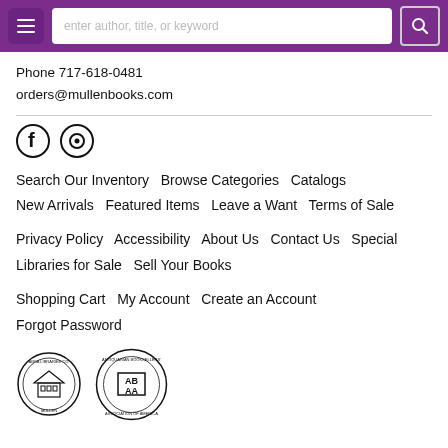enter author, title, or keyword
Phone 717-618-0481
orders@mullenbooks.com
[Figure (other): Facebook and Pinterest social media icons]
Search Our Inventory   Browse Categories   Catalogs   New Arrivals   Featured Items   Leave a Want   Terms of Sale
Privacy Policy   Accessibility   About Us   Contact Us   Special Libraries for Sale   Sell Your Books
Shopping Cart   My Account   Create an Account   Forgot Password
[Figure (logo): Two circular badges/logos: one appears to be ABCA Libraries badge and one is ABAA Antiquarian Booksellers Association of America logo]